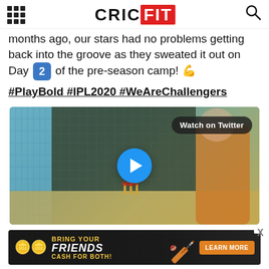CRICFIT
months ago, our stars had no problems getting back into the groove as they sweated it out on Day 2 of the pre-season camp! 💪
#PlayBold #IPL2020 #WeAreChallengers
[Figure (screenshot): Video embed showing cricket practice in nets with a play button and 'Watch on Twitter' badge]
[Figure (photo): Advertisement banner: BRING YOUR FRIENDS CASH FOR BOTH! with LEARN MORE button]